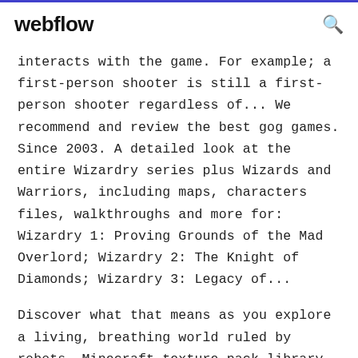webflow
interacts with the game. For example; a first-person shooter is still a first-person shooter regardless of... We recommend and review the best gog games. Since 2003. A detailed look at the entire Wizardry series plus Wizards and Warriors, including maps, characters files, walkthroughs and more for: Wizardry 1: Proving Grounds of the Mad Overlord; Wizardry 2: The Knight of Diamonds; Wizardry 3: Legacy of...
Discover what that means as you explore a living, breathing world ruled by robots. Minecraft texture pack library. Browse the largest collection of texture packs created by the talented Minecraft community and check